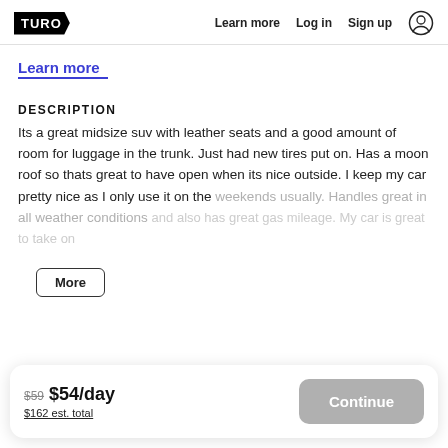TURO — Learn more  Log in  Sign up
Learn more
DESCRIPTION
Its a great midsize suv with leather seats and a good amount of room for luggage in the trunk. Just had new tires put on. Has a moon roof so thats great to have open when its nice outside. I keep my car pretty nice as I only use it on the weekends usually. Handles great in all weather conditions and also has great gas mileage. My car is great to take on More
$59 $54/day $162 est. total Continue